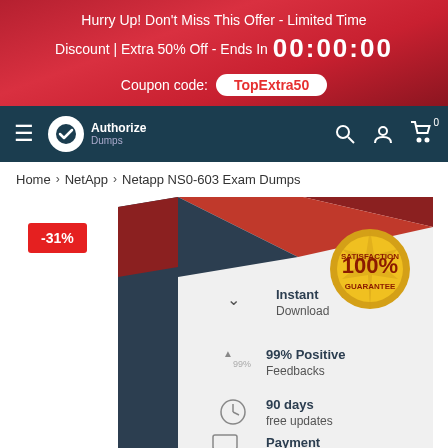Hurry Up! Don't Miss This Offer - Limited Time Discount | Extra 50% Off - Ends In 00:00:00 Coupon code: TopExtra50
[Figure (screenshot): Website navigation bar with hamburger menu, Authorize Dumps logo, and icons for search, account, and cart]
Home > NetApp > Netapp NS0-603 Exam Dumps
[Figure (photo): Product box image for Netapp NS0-603 Exam Dumps showing -31% discount badge. Box features: Instant Download, 99% Positive Feedbacks, 90 days free updates, Payment (cut off). 100% Satisfaction Guarantee gold seal.]